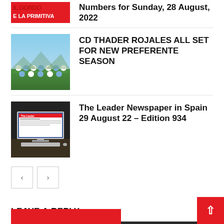[Figure (photo): Partial image top - red background with text 'E LA PRIMITIVA']
Numbers for Sunday, 28 August, 2022
[Figure (photo): Football team photo - CD Thader Rojales players in blue/white kit]
CD THADER ROJALES ALL SET FOR NEW PREFERENTE SEASON
[Figure (photo): The Leader Newspaper website shown on a desktop computer monitor]
The Leader Newspaper in Spain 29 August 22 – Edition 934
‹  ›
LEAVE A REPLY
LOG IN TO LEAVE A COMMENT